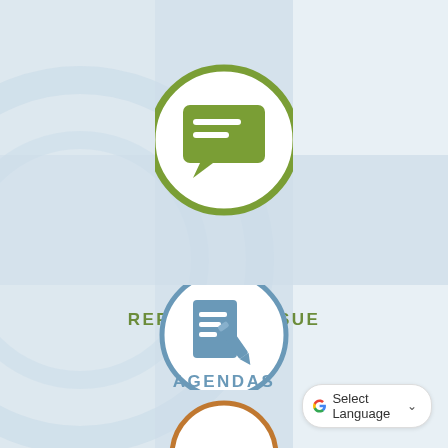[Figure (infographic): Green circle with white speech/chat bubble icon representing 'Report an Issue' feature on a government website, with light blue globe background]
REPORT AN ISSUE
[Figure (infographic): Blue circle with document and pencil icon representing 'Agendas' feature on a government website]
AGENDAS
[Figure (other): Google Translate widget button with 'Select Language' text and dropdown arrow]